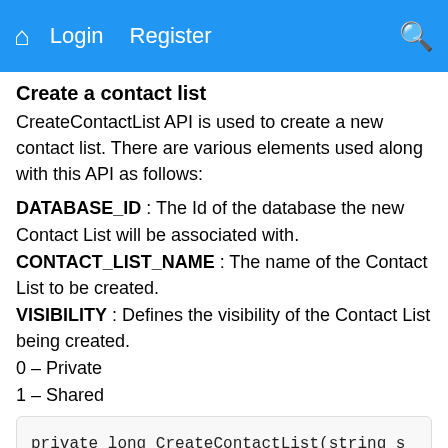🏠 Login Register 🔍
Create a contact list
CreateContactList API is used to create a new contact list. There are various elements used along with this API as follows:
DATABASE_ID : The Id of the database the new Contact List will be associated with.
CONTACT_LIST_NAME : The name of the Contact List to be created.
VISIBILITY : Defines the visibility of the Contact List being created.
0 – Private
1 – Shared
[Figure (screenshot): Code block showing: private long CreateContactList(string sessionId, long databaseId, string conta...]